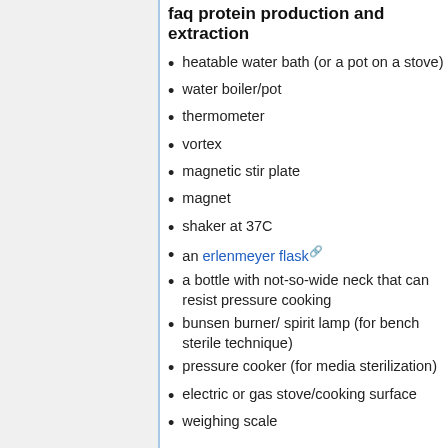faq protein production and extraction
heatable water bath (or a pot on a stove)
water boiler/pot
thermometer
vortex
magnetic stir plate
magnet
shaker at 37C
an erlenmeyer flask
a bottle with not-so-wide neck that can resist pressure cooking
bunsen burner/ spirit lamp (for bench sterile technique)
pressure cooker (for media sterilization)
electric or gas stove/cooking surface
weighing scale